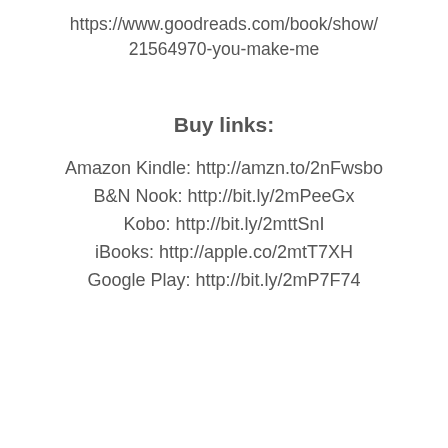https://www.goodreads.com/book/show/21564970-you-make-me
Buy links:
Amazon Kindle: http://amzn.to/2nFwsbo
B&N Nook: http://bit.ly/2mPeeGx
Kobo: http://bit.ly/2mttSnI
iBooks: http://apple.co/2mtT7XH
Google Play: http://bit.ly/2mP7F74